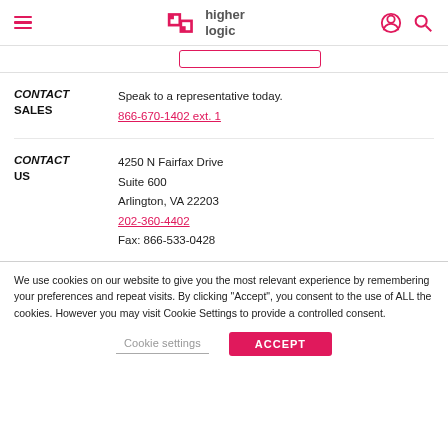Higher Logic navigation header with hamburger menu, logo, user icon, and search icon
CONTACT SALES — Speak to a representative today. 866-670-1402 ext. 1
CONTACT US — 4250 N Fairfax Drive, Suite 600, Arlington, VA 22203, 202-360-4402, Fax: 866-533-0428
We use cookies on our website to give you the most relevant experience by remembering your preferences and repeat visits. By clicking "Accept", you consent to the use of ALL the cookies. However you may visit Cookie Settings to provide a controlled consent.